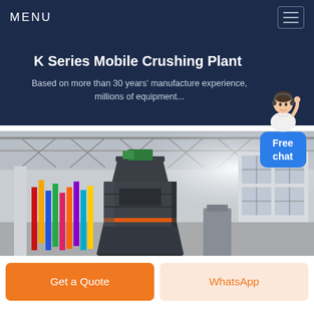MENU
K Series Mobile Crushing Plant
Based on more than 30 years' manufacture experience, millions of equipment...
[Figure (illustration): Free chat widget with a customer service avatar and a blue button labeled 'Free chat']
[Figure (photo): Industrial facility interior showing a large dark-grey cylindrical crushing machine with orange and green accents, inside a warehouse with steel roof structure, white columns, and colorful flags/banners in the background]
Get a Quote
WhatsApp